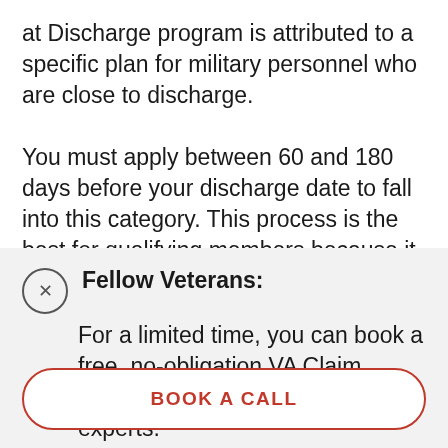at Discharge program is attributed to a specific plan for military personnel who are close to discharge.

You must apply between 60 and 180 days before your discharge date to fall into this category. This process is the best for qualifying members because it is the fastest and you can get your claim back to you quicker. The longer you wait to file a
Fellow Veterans: For a limited time, you can book a free, no-obligation VA Claim Discovery Call with one of our experts.
BOOK A CALL